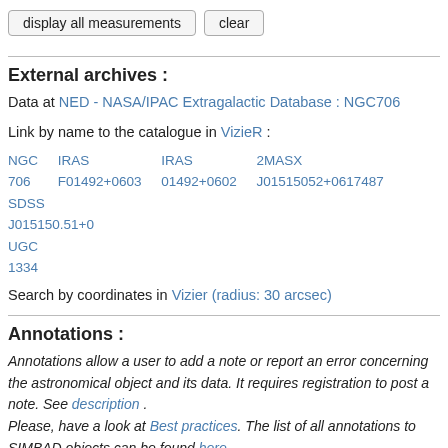display all measurements   clear
External archives :
Data at NED - NASA/IPAC Extragalactic Database : NGC706
Link by name to the catalogue in VizieR :
NGC 706   IRAS F01492+0603   IRAS 01492+0602   2MASX J01515052+0617487   SDSS J015150.51+0   UGC 1334
Search by coordinates in Vizier (radius: 30 arcsec)
Annotations :
Annotations allow a user to add a note or report an error concerning the astronomical object and its data. It requires registration to post a note. See description . Please, have a look at Best practices. The list of all annotations to SIMBAD objects can be found here .